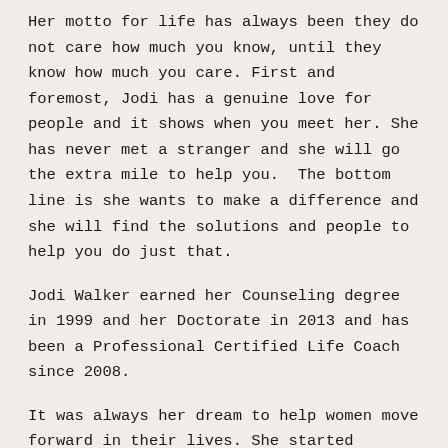Her motto for life has always been they do not care how much you know, until they know how much you care. First and foremost, Jodi has a genuine love for people and it shows when you meet her. She has never met a stranger and she will go the extra mile to help you.  The bottom line is she wants to make a difference and she will find the solutions and people to help you do just that.
Jodi Walker earned her Counseling degree in 1999 and her Doctorate in 2013 and has been a Professional Certified Life Coach since 2008.
It was always her dream to help women move forward in their lives. She started Coaching Café in 2008 to offer coaching and training services to people of all ages and stages and walks of life.